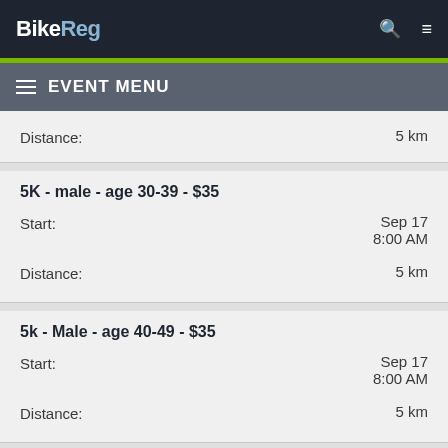BikeReg
Distance: 5 km
5K - male - age 30-39 - $35
Start: Sep 17 8:00 AM
Distance: 5 km
5k - Male - age 40-49 - $35
Start: Sep 17 8:00 AM
Distance: 5 km
5k - male - age 50+ - $35